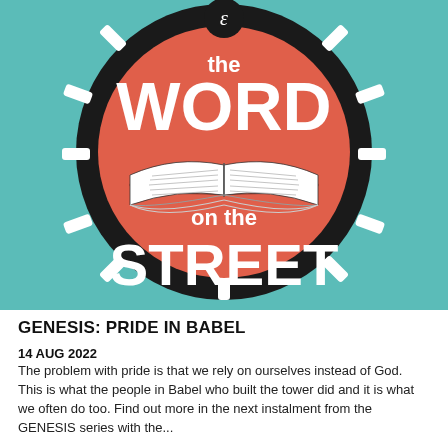[Figure (logo): Logo for 'the WORD on the STREET' podcast/series. A circular road (black with white dashes) surrounds a coral/salmon-red circle containing a white open Bible illustration in the center. Text inside reads 'the WORD on the STREET'. A small black circle at the top contains a white ampersand/script letter. Background is teal/green.]
GENESIS: PRIDE IN BABEL
14 AUG 2022
The problem with pride is that we rely on ourselves instead of God. This is what the people in Babel who built the tower did and it is what we often do too. Find out more in the next instalment from the GENESIS series with the...